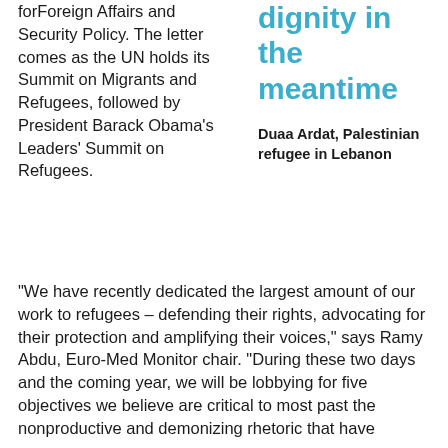forForeign Affairs and Security Policy. The letter comes as the UN holds its Summit on Migrants and Refugees, followed by President Barack Obama's Leaders' Summit on Refugees.
dignity in the meantime
Duaa Ardat, Palestinian refugee in Lebanon
"We have recently dedicated the largest amount of our work to refugees – defending their rights, advocating for their protection and amplifying their voices," says Ramy Abdu, Euro-Med Monitor chair. "During these two days and the coming year, we will be lobbying for five objectives we believe are critical to most past the nonproductive and demonizing rhetoric that have